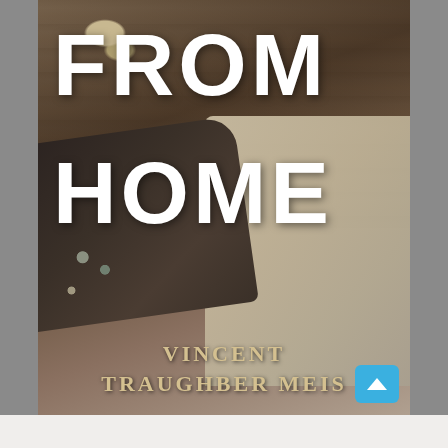[Figure (illustration): Book cover for 'From Home' by Vincent Traughber Meis. The cover shows a dark wooden table top with travel items scattered: a hat, coins, cards, a leather wallet/passport cover, a map, and a camera. Large white bold text reads 'FROM HOME' and gold serif text at the bottom reads 'VINCENT TRAUGHBER MEIS'.]
FROM HOME
VINCENT TRAUGHBER MEIS